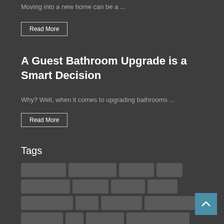Moving into a new home can be a ...
Read More
A Guest Bathroom Upgrade is a Smart Decision
Why? Well, when it comes to upgrading bathrooms ...
Read More
Tags
[Figure (other): Grid of tag/label boxes in multiple rows, rendered as rounded rectangles in gray on a dark background]
[Figure (other): Scroll-to-top button, teal/blue square with upward arrow in bottom right corner]